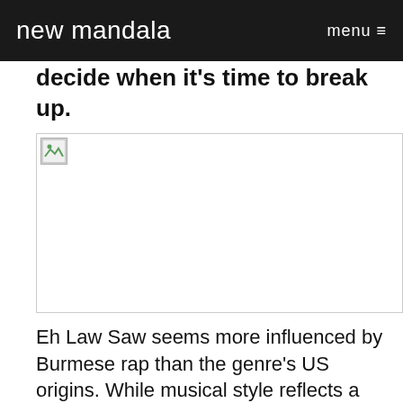new mandala   menu
decide when it's time to break up.
[Figure (photo): Broken/missing image placeholder]
Eh Law Saw seems more influenced by Burmese rap than the genre's US origins. While musical style reflects a mix of both hip hop traditions, the lyrics and content are on the